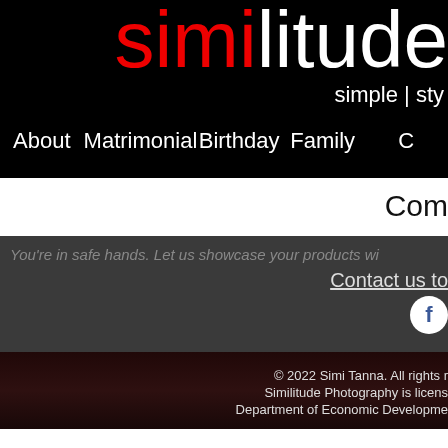similitude
simple | sty
About  Matrimonial  Birthday  Family  C
Com
You're in safe hands.  Let us showcase your products wi
Contact us to
© 2022 Simi Tanna.  All rights r  Similitude Photography is licens  Department of Economic Developme